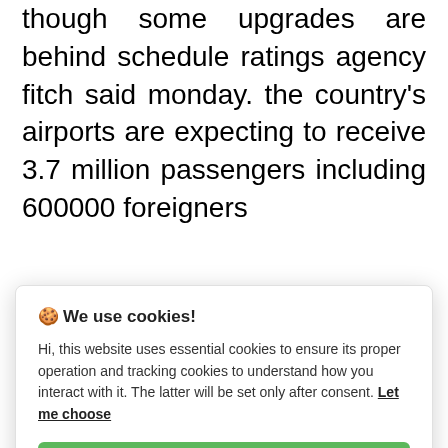though some upgrades are behind schedule ratings agency fitch said monday. the country's airports are expecting to receive 3.7 million passengers including 600000 foreigners
[Figure (screenshot): Cookie consent modal dialog with title 'We use cookies!', body text about essential and tracking cookies, a 'Let me choose' link, an 'Accept all' green button, and a 'Reject all' grey button.]
fficials says 5.5 billion people ($3.5 billion, 1.8...